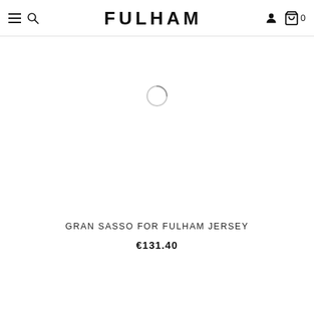FULHAM — navigation bar with hamburger menu, search, account, and cart icons
[Figure (other): Loading spinner circle (product image placeholder)]
GRAN SASSO FOR FULHAM JERSEY
€131.40